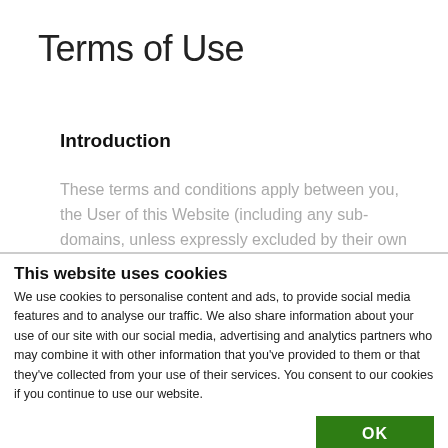Terms of Use
Introduction
These terms and conditions apply between you, the User of this Website (including any sub-domains, unless expressly excluded by their own terms and
This website uses cookies
We use cookies to personalise content and ads, to provide social media features and to analyse our traffic. We also share information about your use of our site with our social media, advertising and analytics partners who may combine it with other information that you've provided to them or that they've collected from your use of their services. You consent to our cookies if you continue to use our website.
OK
| Necessary | Preferences | Statistics | Show details |
| Marketing |  |  |  |